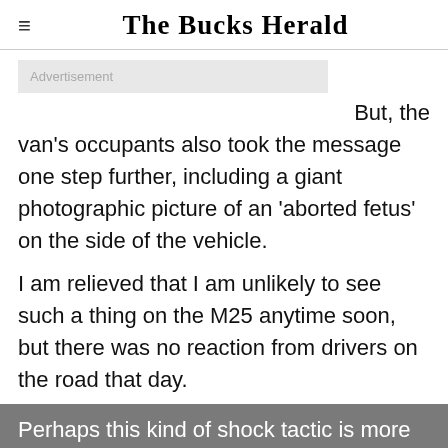The Bucks Herald
[Figure (other): Advertisement placeholder box with grey background and text 'Advertisement']
But, the van's occupants also took the message one step further, including a giant photographic picture of an 'aborted fetus' on the side of the vehicle.
I am relieved that I am unlikely to see such a thing on the M25 anytime soon, but there was no reaction from drivers on the road that day.
Perhaps this kind of shock tactic is more commonplace in the States.